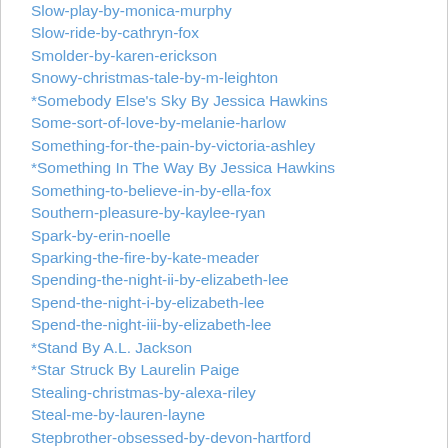Slow-play-by-monica-murphy
Slow-ride-by-cathryn-fox
Smolder-by-karen-erickson
Snowy-christmas-tale-by-m-leighton
*Somebody Else's Sky By Jessica Hawkins
Some-sort-of-love-by-melanie-harlow
Something-for-the-pain-by-victoria-ashley
*Something In The Way By Jessica Hawkins
Something-to-believe-in-by-ella-fox
Southern-pleasure-by-kaylee-ryan
Spark-by-erin-noelle
Sparking-the-fire-by-kate-meader
Spending-the-night-ii-by-elizabeth-lee
Spend-the-night-i-by-elizabeth-lee
Spend-the-night-iii-by-elizabeth-lee
*Stand By A.L. Jackson
*Star Struck By Laurelin Paige
Stealing-christmas-by-alexa-riley
Steal-me-by-lauren-layne
Stepbrother-obsessed-by-devon-hartford
Sticky-by-nina-lane